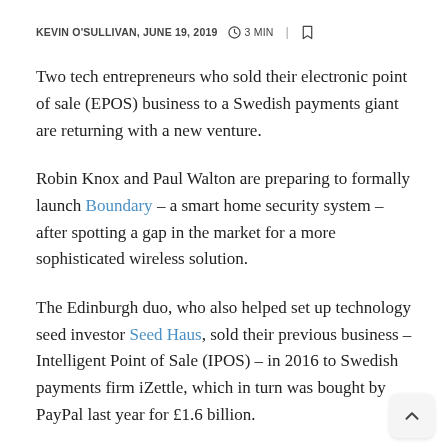KEVIN O'SULLIVAN, JUNE 19, 2019   ⏱ 3 MIN  |  🔖
Two tech entrepreneurs who sold their electronic point of sale (EPOS) business to a Swedish payments giant are returning with a new venture.
Robin Knox and Paul Walton are preparing to formally launch Boundary – a smart home security system – after spotting a gap in the market for a more sophisticated wireless solution.
The Edinburgh duo, who also helped set up technology seed investor Seed Haus, sold their previous business – Intelligent Point of Sale (IPOS) – in 2016 to Swedish payments firm iZettle, which in turn was bought by PayPal last year for £1.6 billion.
Knox and Walton are now launching a £50,000 fundraising campaign on the Kickstarter crowdfunding website ahead of the public release of their Boundary home security system in